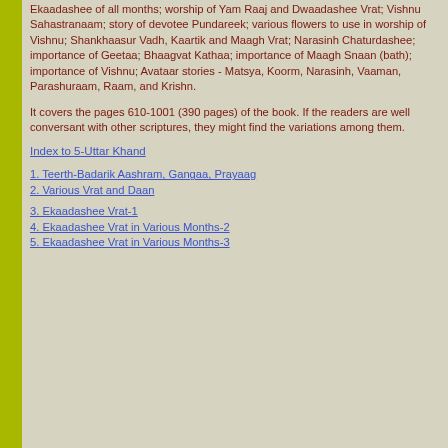Ekaadashee of all months; worship of Yam Raaj and Dwaadashee Vrat; Vishnu Sahastranaam; story of devotee Pundareek; various flowers to use in worship of Vishnu; Shankhaasur Vadh, Kaartik and Maagh Vrat; Narasinh Chaturdashee; importance of Geetaa; Bhaagvat Kathaa; importance of Maagh Snaan (bath); importance of Vishnu; Avataar stories - Matsya, Koorm, Narasinh, Vaaman, Parashuraam, Raam, and Krishn.
It covers the pages 610-1001 (390 pages) of the book. If the readers are well conversant with other scriptures, they might find the variations among them.
Index to 5-Uttar Khand
1. Teerth-Badarik Aashram, Gangaa, Prayaag
2. Various Vrat and Daan
3. Ekaadashee Vrat-1
4. Ekaadashee Vrat in Various Months-2
5. Ekaadashee Vrat in Various Months-3